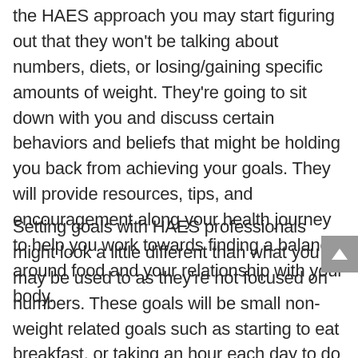the HAES approach you may start figuring out that they won't be talking about numbers, diets, or losing/gaining specific amounts of weight. They're going to sit down with you and discuss certain behaviors and beliefs that might be holding you back from achieving your goals. They will provide resources, tips, and encouragement along your health journey to help you work towards finding a balance around food and your relationship with your body.
Setting goals with HAES professionals might look a little different than what you may be used to as they're not focused on numbers. These goals will be small non-weight related goals such as starting to eat breakfast, or taking an hour each day to do your favorite form of movement or self-